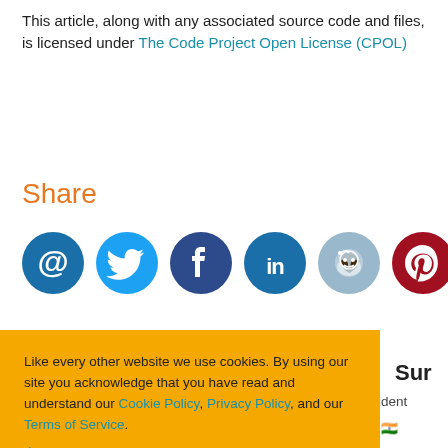This article, along with any associated source code and files, is licensed under The Code Project Open License (CPOL)
Share
[Figure (infographic): Row of six circular social media share icons: email (@), Twitter (bird), Facebook (f), LinkedIn (in), Reddit (alien), Pinterest (P)]
Like every other website we use cookies. By using our site you acknowledge that you have read and understand our Cookie Policy, Privacy Policy, and our Terms of Service.
Learn more
Ask me later   Decline   Allow cookies